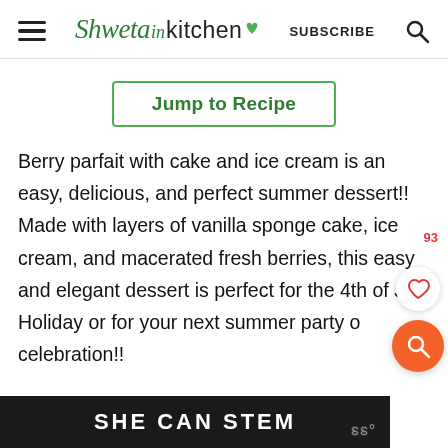≡ Shweta in Kitchen   SUBSCRIBE   🔍
Jump to Recipe
Berry parfait with cake and ice cream is an easy, delicious, and perfect summer dessert!! Made with layers of vanilla sponge cake, ice cream, and macerated fresh berries, this easy and elegant dessert is perfect for the 4th of July Holiday or for your next summer party or celebration!!
[Figure (other): SHE CAN STEM advertisement banner, dark background with white bold text. Small logo marks in grey at bottom right.]